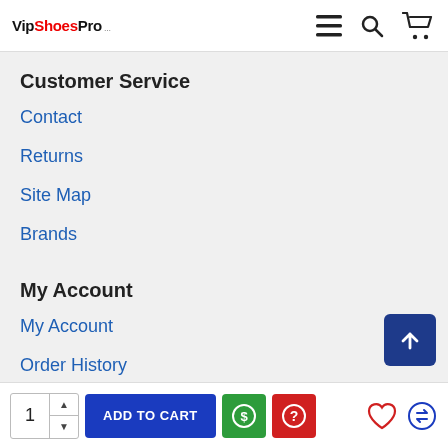VipShoesPro
Customer Service
Contact
Returns
Site Map
Brands
My Account
My Account
Order History
Affiliates
Newsletter